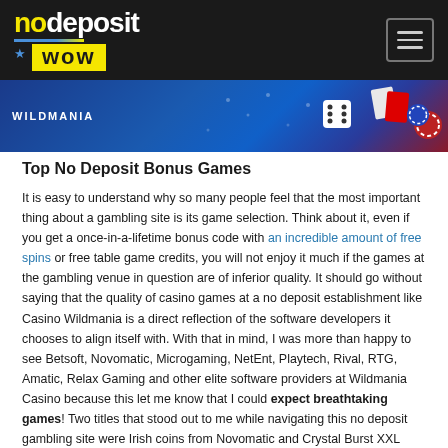nodeposit wow [navigation logo with hamburger menu]
[Figure (screenshot): Casino Wildmania banner with blue background, dice, playing cards and chips]
Top No Deposit Bonus Games
It is easy to understand why so many people feel that the most important thing about a gambling site is its game selection. Think about it, even if you get a once-in-a-lifetime bonus code with an incredible amount of free spins or free table game credits, you will not enjoy it much if the games at the gambling venue in question are of inferior quality. It should go without saying that the quality of casino games at a no deposit establishment like Casino Wildmania is a direct reflection of the software developers it chooses to align itself with. With that in mind, I was more than happy to see Betsoft, Novomatic, Microgaming, NetEnt, Playtech, Rival, RTG, Amatic, Relax Gaming and other elite software providers at Wildmania Casino because this let me know that I could expect breathtaking games! Two titles that stood out to me while navigating this no deposit gambling site were Irish coins from Novomatic and Crystal Burst XXL from Gamomat.
Irish Coins features a leprechaun theme, as you probably already guessed from the name. This top Novomatic slot title has 5 reels and 20 paylines. The Irish Coins feature brings in a good amount of wilds that intensify gameplay and a free game feature can provide players with up